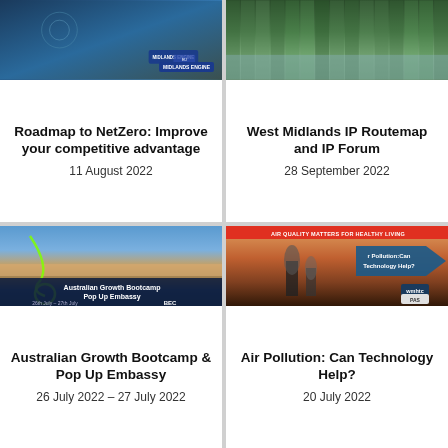[Figure (photo): Technology/industrial image with Midlands Engine European Regional Development Fund logo overlay]
Roadmap to NetZero: Improve your competitive advantage
11 August 2022
[Figure (photo): Green foliage/vertical garden architectural photo]
West Midlands IP Routemap and IP Forum
28 September 2022
[Figure (photo): Aerial view of Gold Coast Australia coastline with Australian Growth Bootcamp Pop Up Embassy banner, 26th July - 27th July, BEC logo]
Australian Growth Bootcamp & Pop Up Embassy
26 July 2022 - 27 July 2022
[Figure (photo): Industrial smoke stacks with Air Quality Matters For Healthy Living banner and 'Air Pollution: Can Technology Help?' text with wmhtc and PAS logos]
Air Pollution: Can Technology Help?
20 July 2022